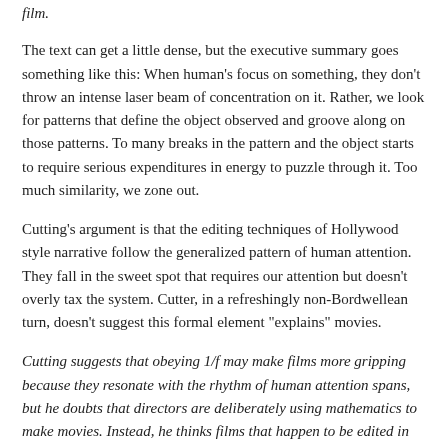film.
The text can get a little dense, but the executive summary goes something like this: When human's focus on something, they don't throw an intense laser beam of concentration on it. Rather, we look for patterns that define the object observed and groove along on those patterns. To many breaks in the pattern and the object starts to require serious expenditures in energy to puzzle through it. Too much similarity, we zone out.
Cutting's argument is that the editing techniques of Hollywood style narrative follow the generalized pattern of human attention. They fall in the sweet spot that requires our attention but doesn't overly tax the system. Cutter, in a refreshingly non-Bordwellean turn, doesn't suggest this formal element "explains" movies.
Cutting suggests that obeying 1/f may make films more gripping because they resonate with the rhythm of human attention spans, but he doubts that directors are deliberately using mathematics to make movies. Instead, he thinks films that happen to be edited in this way might be more likely to be successful, which in turn would encourage others to copy their style. This would explain why a